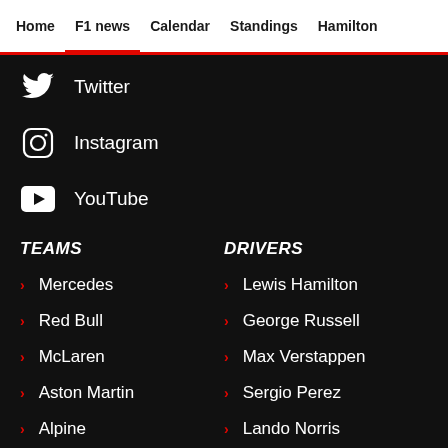Home  F1 news  Calendar  Standings  Hamilton
Twitter
Instagram
YouTube
TEAMS
DRIVERS
Mercedes
Lewis Hamilton
Red Bull
George Russell
McLaren
Max Verstappen
Aston Martin
Sergio Perez
Alpine
Lando Norris
Ferrari
Daniel Ricciardo
AlphaTauri
Sebastian Vettel
Alfa Romeo
Lance Stroll